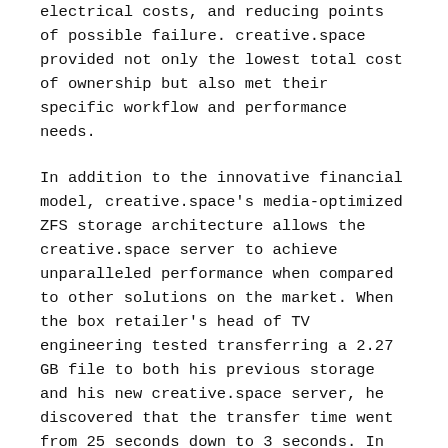electrical costs, and reducing points of possible failure. creative.space provided not only the lowest total cost of ownership but also met their specific workflow and performance needs.
In addition to the innovative financial model, creative.space's media-optimized ZFS storage architecture allows the creative.space server to achieve unparalleled performance when compared to other solutions on the market. When the box retailer's head of TV engineering tested transferring a 2.27 GB file to both his previous storage and his new creative.space server, he discovered that the transfer time went from 25 seconds down to 3 seconds. In terms of bandwidth, the transfer went from about 150 MB/s to 1.02 GB/s, which is nearly 7 times as fast. Adaptive Replacement Cache (ARC) technology